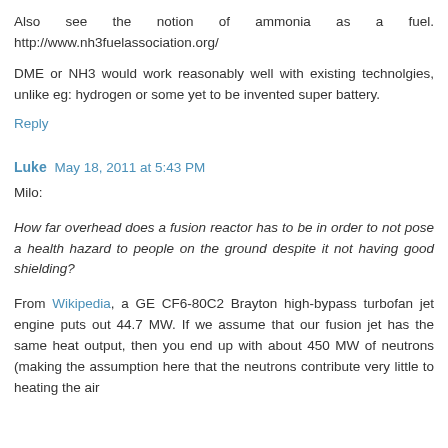Also see the notion of ammonia as a fuel. http://www.nh3fuelassociation.org/
DME or NH3 would work reasonably well with existing technolgies, unlike eg: hydrogen or some yet to be invented super battery.
Reply
Luke  May 18, 2011 at 5:43 PM
Milo:
How far overhead does a fusion reactor has to be in order to not pose a health hazard to people on the ground despite it not having good shielding?
From Wikipedia, a GE CF6-80C2 Brayton high-bypass turbofan jet engine puts out 44.7 MW. If we assume that our fusion jet has the same heat output, then you end up with about 450 MW of neutrons (making the assumption here that the neutrons contribute very little to heating the air